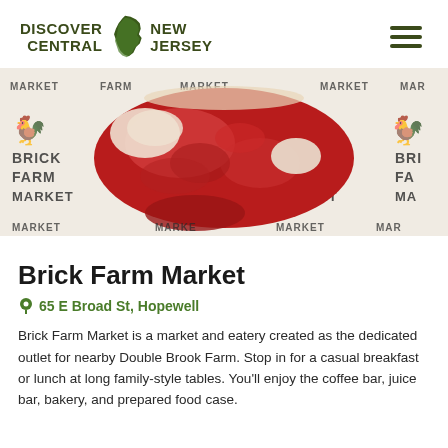DISCOVER NEW CENTRAL JERSEY
[Figure (photo): A raw ribeye steak resting on Brick Farm Market branded butcher paper with rooster logos and 'BRICK FARM MARKET' text repeated across the paper]
Brick Farm Market
65 E Broad St, Hopewell
Brick Farm Market is a market and eatery created as the dedicated outlet for nearby Double Brook Farm. Stop in for a casual breakfast or lunch at long family-style tables. You'll enjoy the coffee bar, juice bar, bakery, and prepared food case.